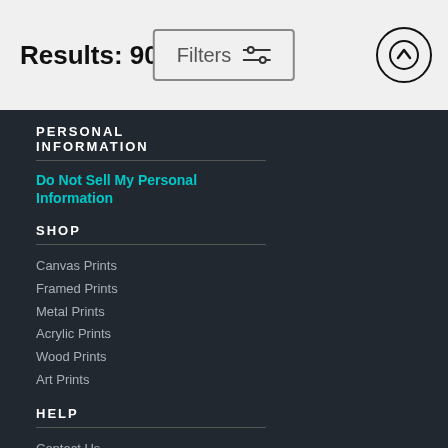Results: 90
Filters
PERSONAL INFORMATION
Do Not Sell My Personal Information
SHOP
Canvas Prints
Framed Prints
Metal Prints
Acrylic Prints
Wood Prints
Art Prints
HELP
Contact Us
Frequently Asked Questions
Return Policy
Returns
Terms of Use
Privacy Policy